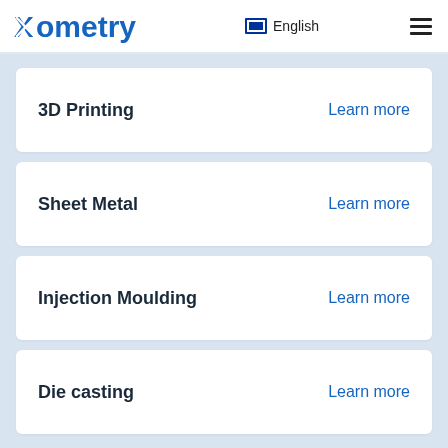Xometry  English  ☰
3D Printing  Learn more
Sheet Metal  Learn more
Injection Moulding  Learn more
Die casting  Learn more